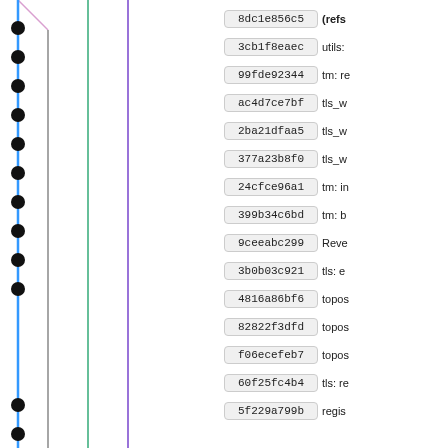[Figure (network-graph): Network/commit graph showing vertical lines in multiple colors (blue, gray, teal/green, purple, dark red/maroon, gray) with black dot nodes at various positions. A pink/lavender diagonal line appears at top-left. The graph represents a git commit history visualization.]
| Hash | Label |
| --- | --- |
| 8dc1e856c5 | (refs |
| 3cb1f8eaec | utils: |
| 99fde92344 | tm: re |
| ac4d7ce7bf | tls_w |
| 2ba21dfaa5 | tls_w |
| 377a23b8f0 | tls_w |
| 24cfce96a1 | tm: in |
| 399b34c6bd | tm: b |
| 9ceeabc299 | Reve |
| 3b0b03c921 | tls: e |
| 4816a86bf6 | topos |
| 82822f3dfd | topos |
| f06ecefeb7 | topos |
| 60f25fc4b4 | tls: re |
| 5f229a799b | regis |